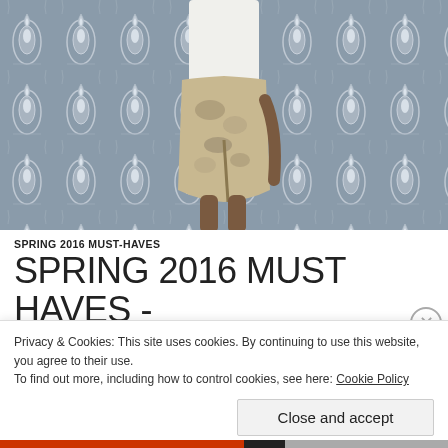[Figure (photo): Fashion photo showing a person wearing a white top and snake-print/floral front-slit skirt, posed against a decorative peacock-feather patterned wallpaper background in grey and white tones.]
SPRING 2016 MUST-HAVES
SPRING 2016 MUST HAVES - FRONT SLIT SKIRT
Privacy & Cookies: This site uses cookies. By continuing to use this website, you agree to their use.
To find out more, including how to control cookies, see here: Cookie Policy
Close and accept